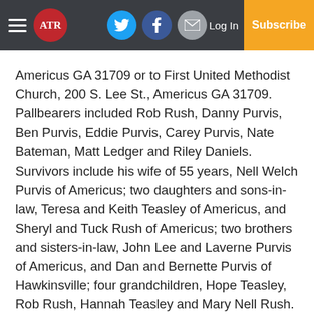ATR navigation bar with hamburger menu, ATR logo, Twitter, Facebook, Email icons, Log In, and Subscribe button
Americus GA 31709 or to First United Methodist Church, 200 S. Lee St., Americus GA 31709. Pallbearers included Rob Rush, Danny Purvis, Ben Purvis, Eddie Purvis, Carey Purvis, Nate Bateman, Matt Ledger and Riley Daniels. Survivors include his wife of 55 years, Nell Welch Purvis of Americus; two daughters and sons-in-law, Teresa and Keith Teasley of Americus, and Sheryl and Tuck Rush of Americus; two brothers and sisters-in-law, John Lee and Laverne Purvis of Americus, and Dan and Bernette Purvis of Hawkinsville; four grandchildren, Hope Teasley, Rob Rush, Hannah Teasley and Mary Nell Rush. He was